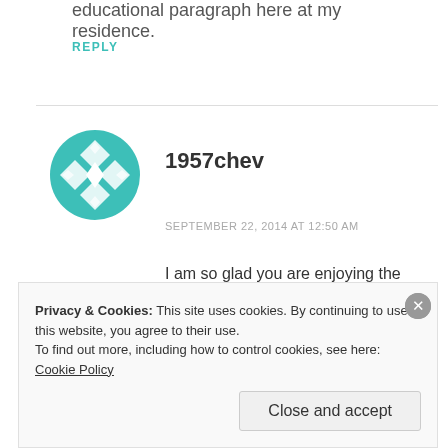educational paragraph here at my residence.
REPLY
[Figure (logo): Teal geometric flower/snowflake avatar icon for user 1957chev]
1957chev
SEPTEMBER 22, 2014 AT 12:50 AM
I am so glad you are enjoying the posts. Come back any time! 🙂
Privacy & Cookies: This site uses cookies. By continuing to use this website, you agree to their use. To find out more, including how to control cookies, see here: Cookie Policy
Close and accept